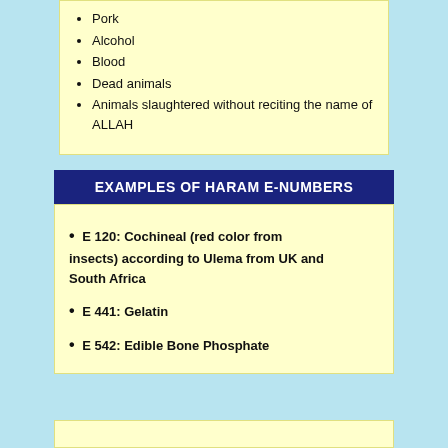Pork
Alcohol
Blood
Dead animals
Animals slaughtered without reciting the name of ALLAH
EXAMPLES OF HARAM E-NUMBERS
E 120: Cochineal (red color from insects) according to Ulema from UK and South Africa
E 441: Gelatin
E 542: Edible Bone Phosphate